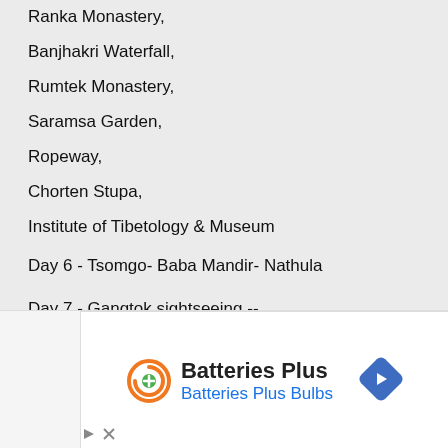Ranka Monastery,
Banjhakri Waterfall,
Rumtek Monastery,
Saramsa Garden,
Ropeway,
Chorten Stupa,
Institute of Tibetology & Museum
Day 6 - Tsomgo- Baba Mandir- Nathula
Day 7 - Gangtok sightseeing --
Flower Exhibition Center,
Handicraft Center,
[Figure (other): Batteries Plus Batteries Plus Bulbs advertisement banner with orange logo, green plus sign, and blue diamond navigation arrow icon]